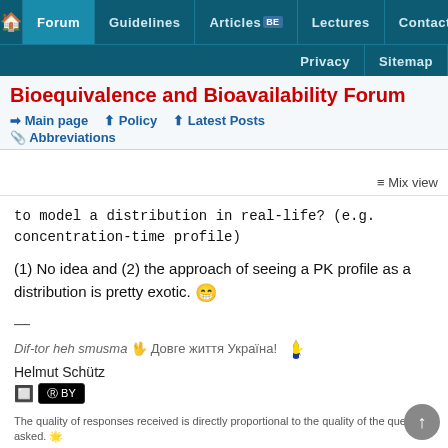Forum | Guidelines | Articles BE | Lectures | Contact | Privacy | Sitemap
Bioequivalence and Bioavailability Forum
Main page | Policy | Latest Posts | Abbreviations
Mix view
to model a distribution in real-life? (e.g. concentration-time profile)
(1) No idea and (2) the approach of seeing a PK profile as a distribution is pretty exotic. 😁
—
Dif-tor heh smusma 🖖 Довге життя Україна! Helmut Schütz
The quality of responses received is directly proportional to the quality of the question asked. 🌟
🔗 Science Quotes